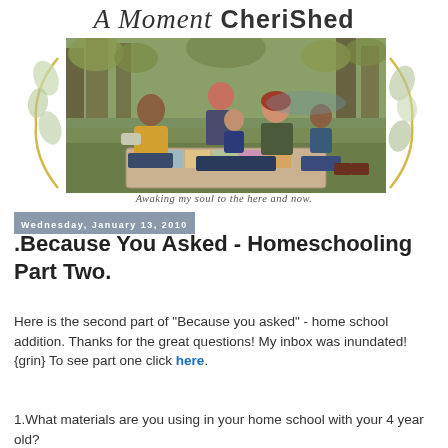[Figure (logo): Blog header logo reading 'A Moment Cherished' with script and sans-serif typography]
[Figure (photo): Family photo of a group of adults and children sitting on a blanket outdoors in an autumn wooded setting. Decorative floral elements frame the photo.]
Awaking my soul to the here and now.
Wednesday, January 13, 2010
.Because You Asked - Homeschooling Part Two.
Here is the second part of "Because you asked" - home school addition. Thanks for the great questions! My inbox was inundated! {grin} To see part one click here.
1.What materials are you using in your home school with your 4 year old?